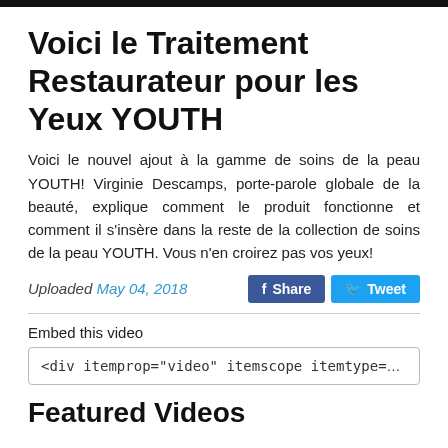Voici le Traitement Restaurateur pour les Yeux YOUTH
Voici le nouvel ajout à la gamme de soins de la peau YOUTH! Virginie Descamps, porte-parole globale de la beauté, explique comment le produit fonctionne et comment il s'insère dans la reste de la collection de soins de la peau YOUTH. Vous n'en croirez pas vos yeux!
Uploaded May 04, 2018
Embed this video
<div itemprop="video" itemscope itemtype="http://schema.org/
Featured Videos